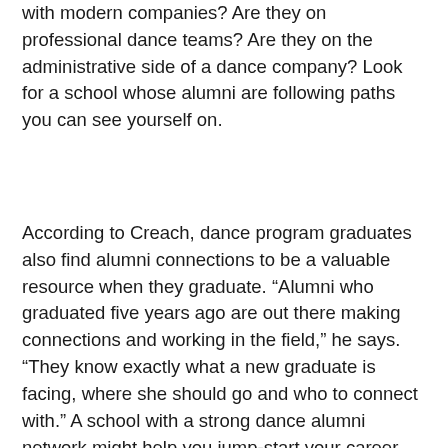with modern companies? Are they on professional dance teams? Are they on the administrative side of a dance company? Look for a school whose alumni are following paths you can see yourself on.
According to Creach, dance program graduates also find alumni connections to be a valuable resource when they graduate. “Alumni who graduated five years ago are out there making connections and working in the field,” he says. “They know exactly what a new graduate is facing, where she should go and who to connect with.” A school with a strong dance alumni network might help you jump-start your career after graduation.